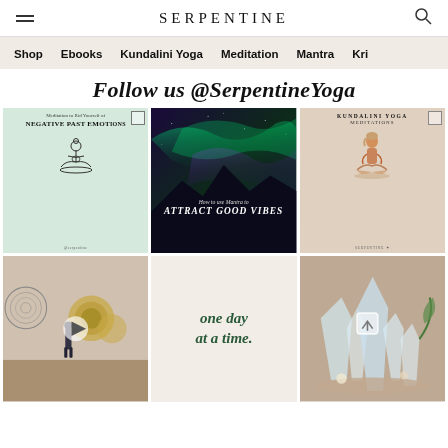SERPENTINE
Shop  Ebooks  Kundalini Yoga  Meditation  Mantra  Kri
Follow us @SerpentineYoga
[Figure (photo): Six Instagram post thumbnails in a 3x2 grid: 1) Meditation to Rid Yourself of Negative Past Emotions - light green background with seated figure illustration, 2) Aurora borealis/northern lights with text 'How to use Mantra to Attract Good Vibes', 3) Kundalini Yoga Meditations - woman sitting in meditation pose, 4) Interior room with gong instruments - video play button overlay, 5) Cream background with text 'one day at a time.', 6) Crystal formations photo with video overlay icon]